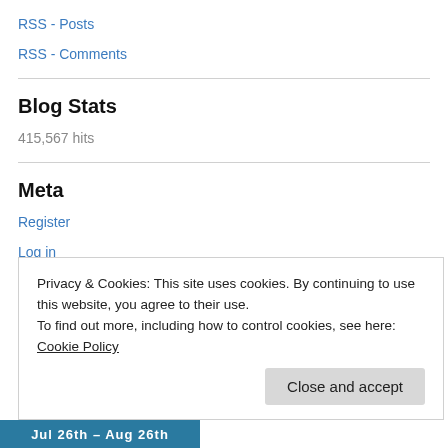RSS - Posts
RSS - Comments
Blog Stats
415,567 hits
Meta
Register
Log in
Entries feed
Privacy & Cookies: This site uses cookies. By continuing to use this website, you agree to their use.
To find out more, including how to control cookies, see here: Cookie Policy
[Figure (other): Partial image strip with teal/blue background and white text reading 'Jul 26th – Aug 26th']